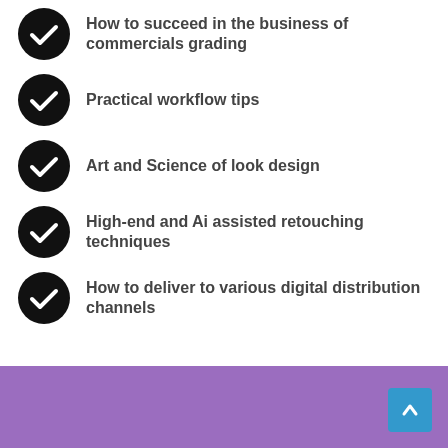How to succeed in the business of commercials grading
Practical workflow tips
Art and Science of look design
High-end and Ai assisted retouching techniques
How to deliver to various digital distribution channels